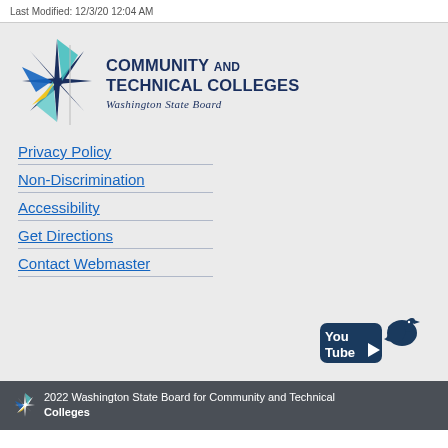Last Modified: 12/3/20 12:04 AM
[Figure (logo): Washington State Board for Community and Technical Colleges logo with starburst icon and text]
Privacy Policy
Non-Discrimination
Accessibility
Get Directions
Contact Webmaster
[Figure (logo): YouTube and Twitter social media icons in dark blue]
2022 Washington State Board for Community and Technical Colleges